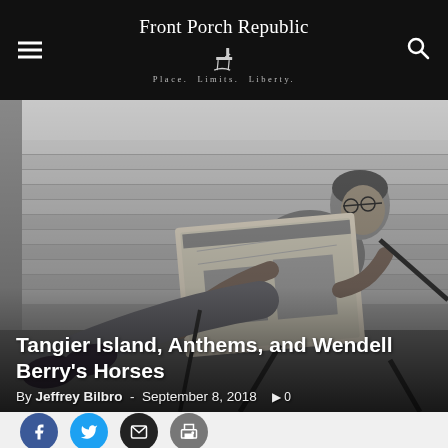Front Porch Republic — Place. Limits. Liberty.
[Figure (photo): Black and white photograph of an older man reclining in a wooden lawn chair on a porch, feet up, reading a newspaper or magazine. Wooden siding visible in background.]
Tangier Island, Anthems, and Wendell Berry's Horses
By Jeffrey Bilbro - September 8, 2018  ▶ 0
[Figure (infographic): Social sharing icons: Facebook (blue circle), Twitter (cyan circle), Email (black circle), Print (gray circle)]